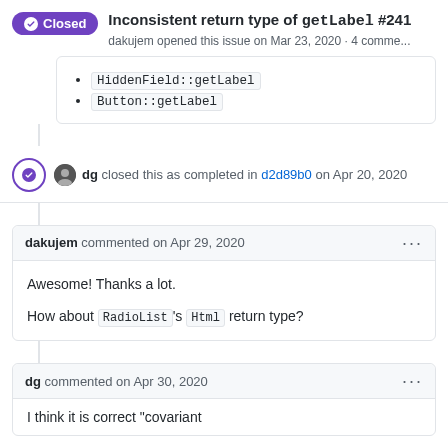Inconsistent return type of getLabel #241 — dakujem opened this issue on Mar 23, 2020 · 4 comme...
HiddenField::getLabel
Button::getLabel
dg closed this as completed in d2d89b0 on Apr 20, 2020
dakujem commented on Apr 29, 2020
Awesome! Thanks a lot.

How about RadioList's Html return type?
dg commented on Apr 30, 2020
I think it is correct "covariant